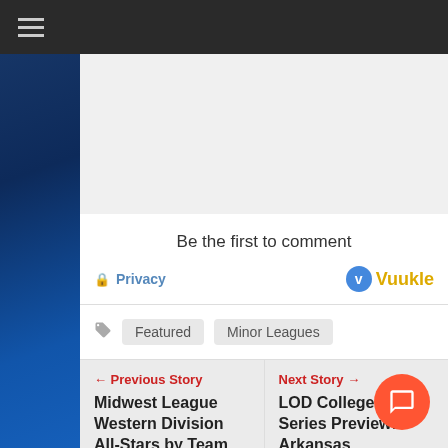☰
[Figure (other): Gray comment box placeholder]
Be the first to comment
🔒 Privacy   Vuukle
Featured
Minor Leagues
← Previous Story
Midwest League Western Division All-Stars by Team
Next Story →
LOD College World Series Preview: Arkansas Razorbacks